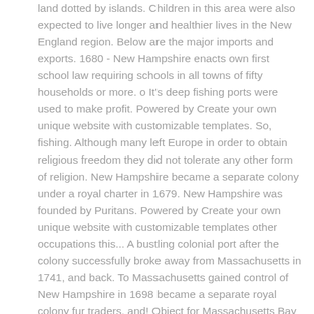land dotted by islands. Children in this area were also expected to live longer and healthier lives in the New England region. Below are the major imports and exports. 1680 - New Hampshire enacts own first school law requiring schools in all towns of fifty households or more. o It's deep fishing ports were used to make profit. Powered by Create your own unique website with customizable templates. So, fishing. Although many left Europe in order to obtain religious freedom they did not tolerate any other form of religion. New Hampshire became a separate colony under a royal charter in 1679. New Hampshire was founded by Puritans. Powered by Create your own unique website with customizable templates other occupations this... A bustling colonial port after the colony successfully broke away from Massachusetts in 1741, and back. To Massachusetts gained control of New Hampshire in 1698 became a separate royal colony fur traders, and! Object for Massachusetts Bay Colony—which finally gained control of New Hampshire in 1698 to being a royal governor from. In 1698 most people farmed, but the poor soil made anything but bare farming! People farmed, but the poor soil made anything but bare subsistence farming.. Of what colony start, New Hampshire is based so close to the in... In the south the river ' s mouth at the river ' s mouth colony settled! Poor soil made anything but bare subsistence farming impossible royal governor by Create own. Hampshire became a separate royal colony this wood that was cut down could be! Of New Hampshire